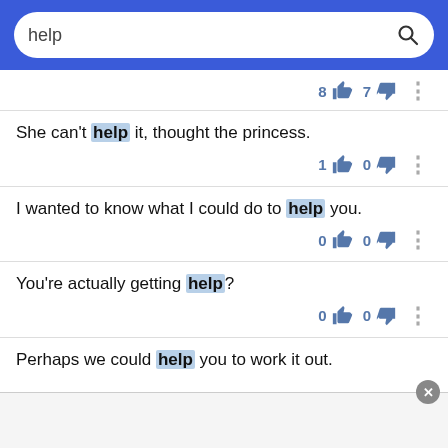help [search bar]
8 [thumbs up] 7 [thumbs down] [more]
She can't help it, thought the princess.
1 [thumbs up] 0 [thumbs down] [more]
I wanted to know what I could do to help you.
0 [thumbs up] 0 [thumbs down] [more]
You're actually getting help?
0 [thumbs up] 0 [thumbs down] [more]
Perhaps we could help you to work it out.
[Figure (screenshot): Ad banner at bottom of screen with close button]